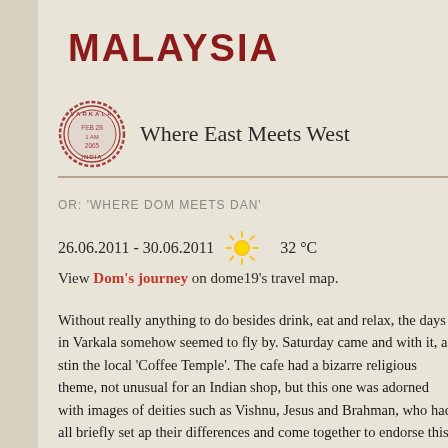MALAYSIA
Where East Meets West
OR: 'WHERE DOM MEETS DAN'
26.06.2011 - 30.06.2011  32 °C
View Dom's journey on dome19's travel map.
Without really anything to do besides drink, eat and relax, the days in Varkala somehow seemed to fly by. Saturday came and with it, a sting the local 'Coffee Temple'. The cafe had a bizarre religious theme, not unusual for an Indian shop, but this one was adorned with images of deities such as Vishnu, Jesus and Brahman, who had all briefly set ap their differences and come together to endorse this particular hot bev vendor.
In an 8-hour shift making coffee in the UK, I might have made close two or three hundred coffees. On this particular shift in Varkala, I rea three different Indian newspapers cover to cover, about a hundred pa Lord of the Rings, and made three coffees, all for the same person. T